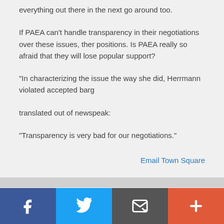everything out there in the next go around too.
If PAEA can't handle transparency in their negotiations over these issues, then their positions. Is PAEA really so afraid that they will lose popular support?
"In characterizing the issue the way she did, Herrmann violated accepted barg
translated out of newspeak:
"Transparency is very bad for our negotiations."
Email Town Square
Posted by A parent
a resident of Another Palo Alto neighborhood
on Apr 22, 2015 at 9:31 am
"NO ORGANIZATION IN THE CLASSROOMS"
Yes, I always found it ironic that the teachers constantly harp on the kids to be the teachers' disorganization. Except the kids don't have fully developed eve